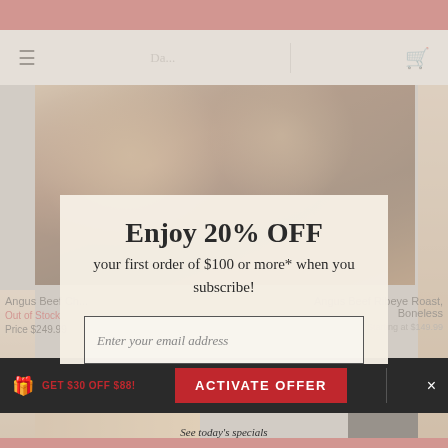[Figure (screenshot): E-commerce website screenshot showing a BBQ/meat delivery site with a food hero image of sliced brisket, product listings, and navigation bar]
Enjoy 20% OFF
your first order of $100 or more* when you subscribe!
Enter your email address
ACTIVATE OFFER
Angus Beef Chuck...
Out of Stock
Price $249.99
Angus Beef Ribeye Roast, Boneless
Starting at $149.99
GET $30 OFF $88!
See today's specials